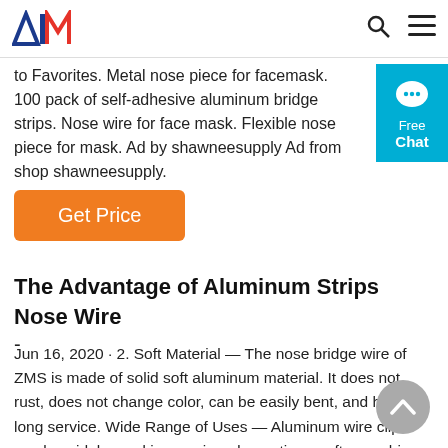AIM logo with search and menu icons
to Favorites. Metal nose piece for facemask. 100 pack of self-adhesive aluminum bridge strips. Nose wire for face mask. Flexible nose piece for mask. Ad by shawneesupply Ad from shop shawneesupply.
[Figure (other): Orange 'Get Price' button]
[Figure (other): Blue 'Free Chat' button with chat bubble icon on right side]
The Advantage of Aluminum Strips Nose Wire -
Jun 16, 2020 · 2. Soft Material — The nose bridge wire of ZMS is made of solid soft aluminum material. It does not rust, does not change color, can be easily bent, and has a long service. Wide Range of Uses — Aluminum wire clips can be widely used in weaving, decoration, craftsmanship, mask DIY, packaging, etc. 4.